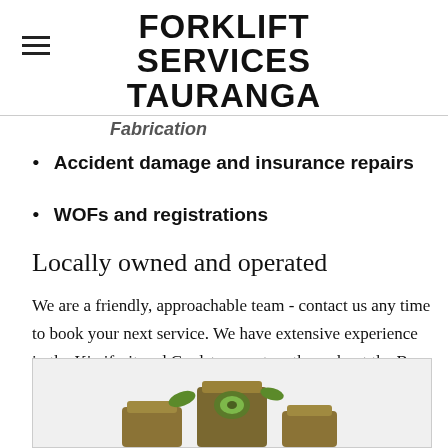FORKLIFT SERVICES TAURANGA
Fabrication
Accident damage and insurance repairs
WOFs and registrations
Locally owned and operated
We are a friendly, approachable team - contact us any time to book your next service. We have extensive experience in the Kiwifruit and Coolstore sectors throughout the Bay of Plenty and East Cape.
[Figure (illustration): Illustration of kiwifruit boxes/logos at the bottom of the page]